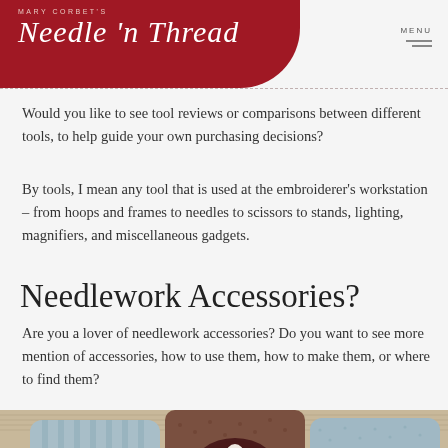Mary Corbet's Needle 'n Thread
Would you like to see tool reviews or comparisons between different tools, to help guide your own purchasing decisions?
By tools, I mean any tool that is used at the embroiderer's workstation – from hoops and frames to needles to scissors to stands, lighting, magnifiers, and miscellaneous gadgets.
Needlework Accessories?
Are you a lover of needlework accessories? Do you want to see more mention of accessories, how to use them, how to make them, or where to find them?
[Figure (photo): Three decorative needle boxes/tins displayed on burlap fabric. The tins feature silhouette cameo designs. Colors include light blue with stripes, brown with textured pattern, and light blue with dot pattern.]